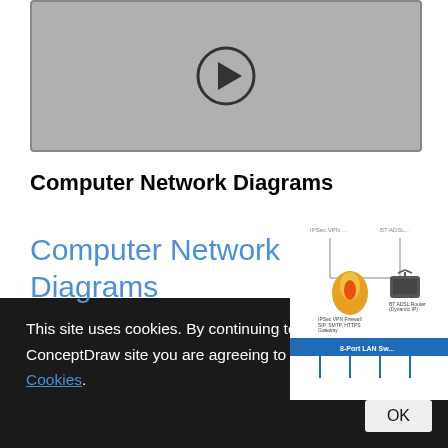[Figure (screenshot): Video thumbnail with play button on gray background]
Computer Network Diagrams
[Figure (screenshot): Computer network diagram preview showing IPSec VPN Firewall, BT ADSL Router and 8-Port LAN Switch with blue bar]
Computer Network Diagrams
This site uses cookies. By continuing to browse the ConceptDraw site you are agreeing to our Use of Site Cookies.